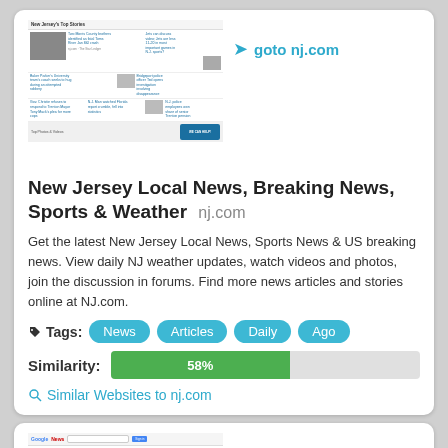[Figure (screenshot): Screenshot of nj.com website showing New Jersey's Top Stories news layout with headlines and photos]
goto nj.com
New Jersey Local News, Breaking News, Sports & Weather nj.com
Get the latest New Jersey Local News, Sports News & US breaking news. View daily NJ weather updates, watch videos and photos, join the discussion in forums. Find more news articles and stories online at NJ.com.
Tags: News Articles Daily Ago
Similarity: 58%
Similar Websites to nj.com
[Figure (screenshot): Screenshot of Google News website showing Headlines section]